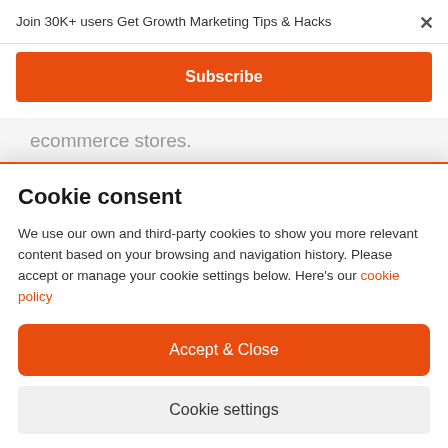Join 30K+ users Get Growth Marketing Tips & Hacks
Subscribe
ecommerce stores.
Cookie consent
We use our own and third-party cookies to show you more relevant content based on your browsing and navigation history. Please accept or manage your cookie settings below. Here's our cookie policy
Accept & Close
Cookie settings